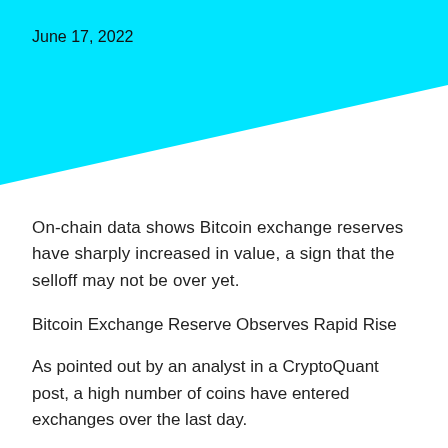[Figure (illustration): Cyan/aqua triangular decorative shape covering the top portion of the page, with a diagonal bottom edge cutting from upper-right to lower-left]
June 17, 2022
On-chain data shows Bitcoin exchange reserves have sharply increased in value, a sign that the selloff may not be over yet.
Bitcoin Exchange Reserve Observes Rapid Rise
As pointed out by an analyst in a CryptoQuant post, a high number of coins have entered exchanges over the last day.